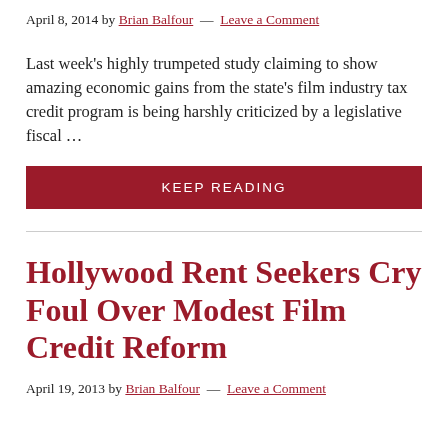April 8, 2014 by Brian Balfour — Leave a Comment
Last week's highly trumpeted study claiming to show amazing economic gains from the state's film industry tax credit program is being harshly criticized by a legislative fiscal …
KEEP READING
Hollywood Rent Seekers Cry Foul Over Modest Film Credit Reform
April 19, 2013 by Brian Balfour — Leave a Comment